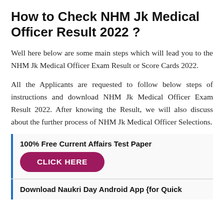How to Check NHM Jk Medical Officer Result 2022 ?
Well here below are some main steps which will lead you to the NHM Jk Medical Officer Exam Result or Score Cards 2022.
All the Applicants are requested to follow below steps of instructions and download NHM Jk Medical Officer Exam Result 2022. After knowing the Result, we will also discuss about the further process of NHM Jk Medical Officer Selections.
100% Free Current Affairs Test Paper
CLICK HERE
Download Naukri Day Android App {for Quick